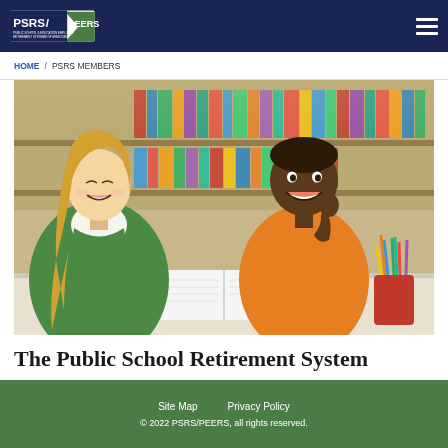PSRS/PEERS – Public School & Education Employee Retirement Systems of Missouri
HOME / PSRS MEMBERS
[Figure (photo): A smiling female teacher with blonde hair and a green sweater sitting beside a young boy in an orange shirt, both looking at an open book on a white table in a library setting with colorful bookshelves in the background. A red cup with colored pencils is visible on the right.]
The Public School Retirement System
Site Map   Privacy Policy   © 2022 PSRS/PEERS, all rights reserved.